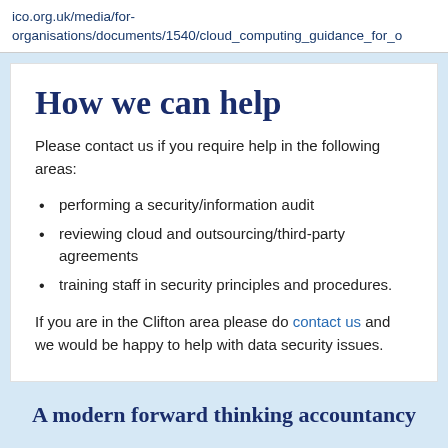ico.org.uk/media/for-organisations/documents/1540/cloud_computing_guidance_for_o
How we can help
Please contact us if you require help in the following areas:
performing a security/information audit
reviewing cloud and outsourcing/third-party agreements
training staff in security principles and procedures.
If you are in the Clifton area please do contact us and we would be happy to help with data security issues.
A modern forward thinking accountancy